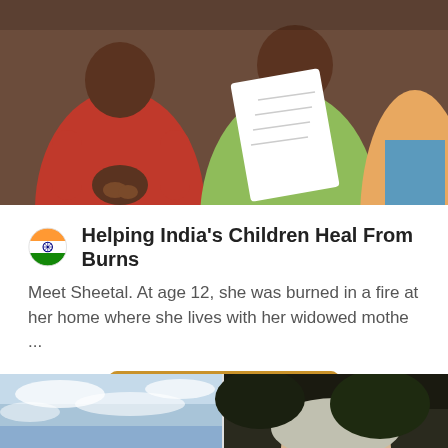[Figure (photo): Photo of people including a child in a red shirt and adults, one holding papers, in an indoor setting.]
Helping India's Children Heal From Burns
Meet Sheetal. At age 12, she was burned in a fire at her home where she lives with her widowed mothe ...
Read More
[Figure (photo): Two partial photos at bottom: left shows sky with clouds, right shows top of a person's head with grey hair against a dark background.]